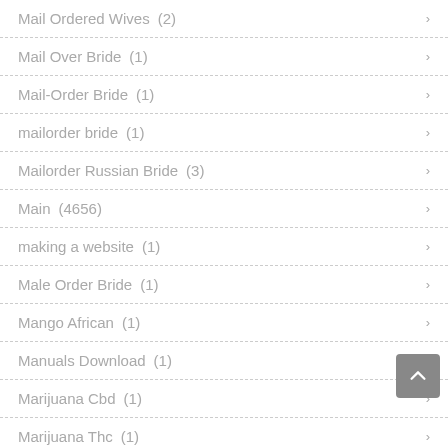Mail Ordered Wives (2)
Mail Over Bride (1)
Mail-Order Bride (1)
mailorder bride (1)
Mailorder Russian Bride (3)
Main (4656)
making a website (1)
Male Order Bride (1)
Mango African (1)
Manuals Download (1)
Marijuana Cbd (1)
Marijuana Thc (1)